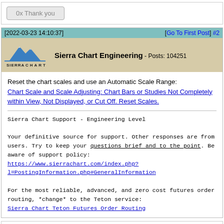0x Thank you
[2022-03-23 14:10:37]  [Go To First Post] #2
Sierra Chart Engineering - Posts: 104251
[Figure (logo): Sierra Chart logo with blue mountain and 'SIERRA CHART' text]
Reset the chart scales and use an Automatic Scale Range:
Chart Scale and Scale Adjusting: Chart Bars or Studies Not Completely within View, Not Displayed, or Cut Off. Reset Scales.
Sierra Chart Support - Engineering Level

Your definitive source for support. Other responses are from users. Try to keep your questions brief and to the point. Be aware of support policy:
https://www.sierrachart.com/index.php?l=PostingInformation.php#GeneralInformation

For the most reliable, advanced, and zero cost futures order routing, *change* to the Teton service:
Sierra Chart Teton Futures Order Routing
0x Thank you
[2022-04-19 14:10:31]  [Go To First Post] #3
User809555 - Posts: 7